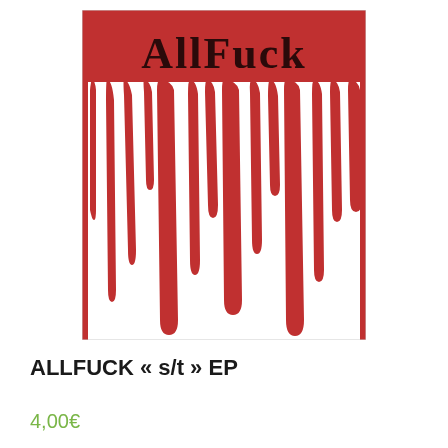[Figure (illustration): Album cover artwork for ALLFUCK s/t EP. Bold dark red/maroon text 'ALLFUCK' at the top on a red background, with red paint drips running down over a white background.]
ALLFUCK « s/t » EP
4,00€